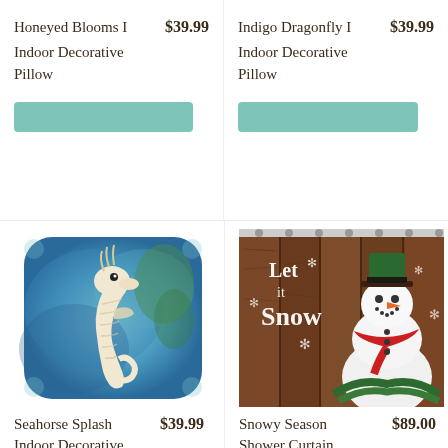Honeyed Blooms I  $39.99
Indoor Decorative Pillow
[Figure (other): Teal/mint colored button placeholder]
Indigo Dragonfly I  $39.99
Indoor Decorative Pillow
[Figure (other): Teal/mint colored button placeholder]
[Figure (photo): Blue watercolor seahorse decorative pillow on white background]
[Figure (photo): Snowy Season shower curtain with snowman and Let it Snow text on rustic wood background]
Seahorse Splash  $39.99
Indoor Decorative
Snowy Season  $89.00
Shower Curtain